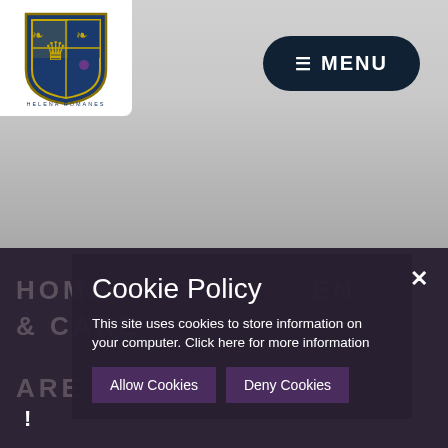[Figure (logo): Helena Romanes school crest/shield logo in gold, blue and purple with a lion, on white background]
☰ MENU
Cookie Policy
This site uses cookies to store information on your computer. Click here for more information
Allow Cookies
Deny Cookies